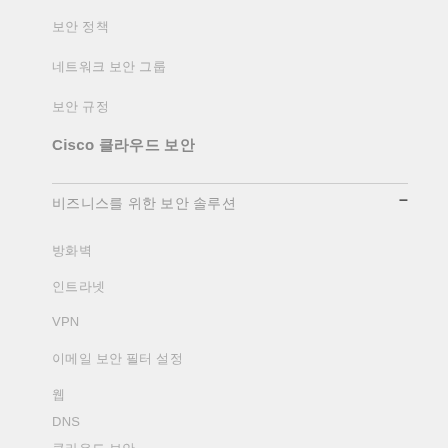보안 정책
네트워크 보안 그룹
보안 규정
Cisco 클라우드 보안
비즈니스를 위한 보안 솔루션
방화벽
인트라넷
VPN
이메일 보안 필터 설정
웹
DNS
클라우드 보안